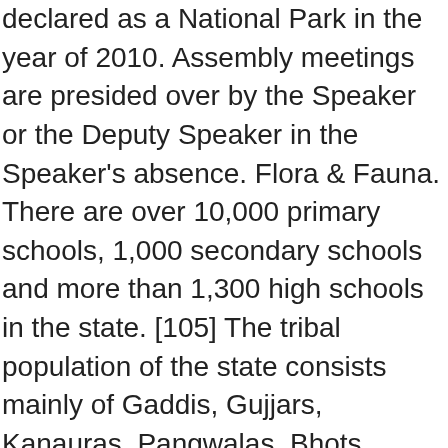declared as a National Park in the year of 2010. Assembly meetings are presided over by the Speaker or the Deputy Speaker in the Speaker's absence. Flora & Fauna. There are over 10,000 primary schools, 1,000 secondary schools and more than 1,300 high schools in the state. [105] The tribal population of the state consists mainly of Gaddis, Gujjars, Kanauras, Pangwalas, Bhots, Swanglas and Lahaulas. Nestled in Himalayan Peaks and glorious sun downs. Biological Conservation, 93 (3): 371-379. While higher levels of education do reflect a gender-based disparity, Himachal is still significantly ahead of other states at bridging the gap. Receptionist was very welcoming and informative… Me and my friends. FLora of Madhya Pradesh vol - 1 . [67] The identified hydroelectric potential for the state is 27,436 MW in five river basins[65] while the hydroelectric capacity in 2016 was 10,351 MW. Geographical area (sq km) 55,673. [96] Himachal Pradesh's literacy rate has almost doubled between